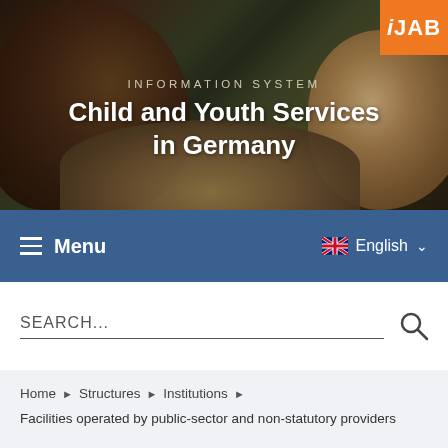[Figure (photo): Hero banner with close-up photos of children/youth faces (dark curly hair on left, lighter hair on right) against a nature background]
INFORMATION SYSTEM
Child and Youth Services in Germany
iJAB
Menu
English
SEARCH...
Home ▶ Structures ▶ Institutions ▶
Facilities operated by public-sector and non-statutory providers